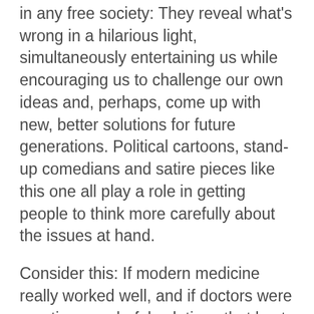in any free society: They reveal what's wrong in a hilarious light, simultaneously entertaining us while encouraging us to challenge our own ideas and, perhaps, come up with new, better solutions for future generations. Political cartoons, stand-up comedians and satire pieces like this one all play a role in getting people to think more carefully about the issues at hand.
Consider this: If modern medicine really worked well, and if doctors were creating wonderful solutions that kept people healthy, then we wouldn't have much of anything to make fun of! The fact that silly humor and examples of idiotic behavior are so easy to find in conventional medicine today is indicative of the failure of medicine to be effective. Satire "attack" humor carries a sub-text message that says, "We can do better." We don't have to suffer under an idiotic system of medicine. We can create a better future based on genuine health freedom, the promotion of disease...